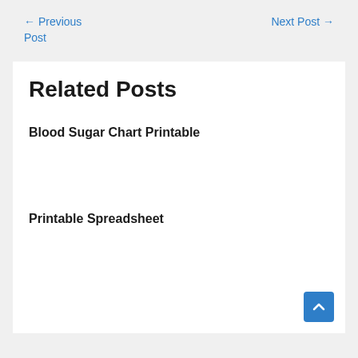← Previous Post    Next Post →
Related Posts
Blood Sugar Chart Printable
Printable Spreadsheet